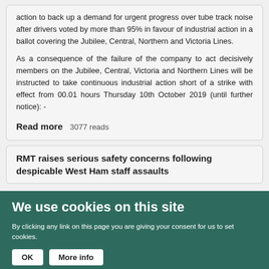action to back up a demand for urgent progress over tube track noise after drivers voted by more than 95% in favour of industrial action in a ballot covering the Jubilee, Central, Northern and Victoria Lines.
As a consequence of the failure of the company to act decisively members on the Jubilee, Central, Victoria and Northern Lines will be instructed to take continuous industrial action short of a strike with effect from 00.01 hours Thursday 10th October 2019 (until further notice): -
Read more   3077 reads
RMT raises serious safety concerns following despicable West Ham staff assaults
We use cookies on this site
By clicking any link on this page you are giving your consent for us to set cookies.